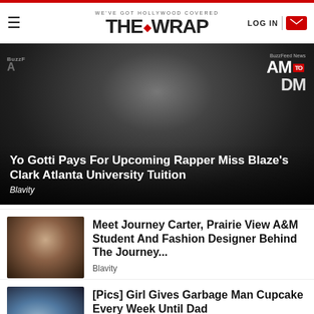WE'VE GOT HOLLYWOOD COVERED — THE WRAP — LOG IN
[Figure (photo): Hero image: person with hands clasped in prayer pose, wearing dark jacket, with BuzzFeed News AM to DM overlay graphics]
Yo Gotti Pays For Upcoming Rapper Miss Blaze's Clark Atlanta University Tuition
Blavity
[Figure (photo): Thumbnail photo of a young woman with styled hair, wearing a black outfit and hoop earrings, smiling]
Meet Journey Carter, Prairie View A&M Student And Fashion Designer Behind The Journey...
Blavity
[Figure (photo): Thumbnail photo partially visible, showing an outdoor scene]
[Pics] Girl Gives Garbage Man Cupcake Every Week Until Dad